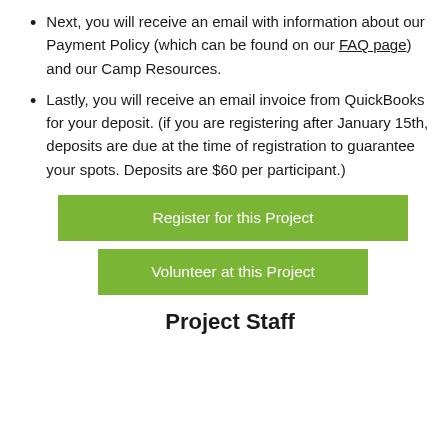Next, you will receive an email with information about our Payment Policy (which can be found on our FAQ page) and our Camp Resources.
Lastly, you will receive an email invoice from QuickBooks for your deposit. (if you are registering after January 15th, deposits are due at the time of registration to guarantee your spots. Deposits are $60 per participant.)
Register for this Project
Volunteer at this Project
Project Staff